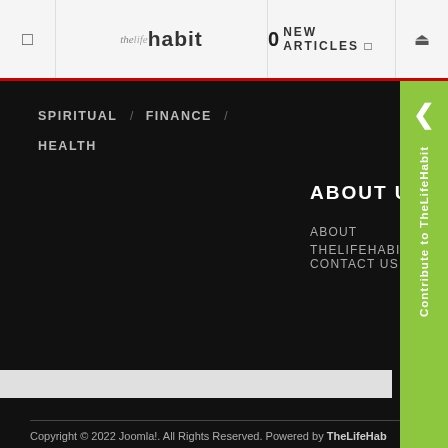☰  thelife habit  |  0 NEW ARTICLES ☰  🔍
SPIRITUAL / FINANCE / HEALTH
ABOUT US
ABOUT THELIFEHABIT /
CONTACT US
Contribute to TheLifeHabit
Copyright © 2022 Joomla!. All Rights Reserved. Powered by TheLifeHabit. Designed by JoomlArt.com. Bootstrap is a front-end framework of Twitter, Inc. Code licensed under Apache License v2.0. Font Awesome font licensed under SIL OFL 1.1.